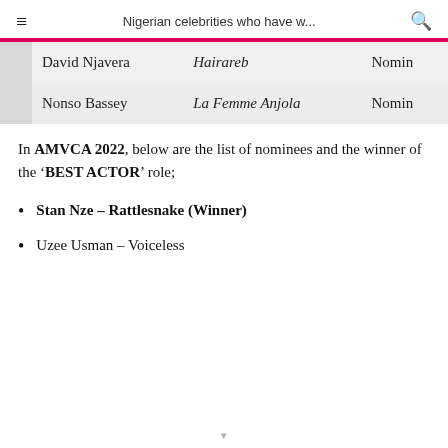Nigerian celebrities who have w...
| David Njavera | Hairareb | Nomin... |
| Nonso Bassey | La Femme Anjola | Nomin... |
In AMVCA 2022, below are the list of nominees and the winner of the 'BEST ACTOR' role;
Stan Nze – Rattlesnake (Winner)
Uzee Usman – Voiceless